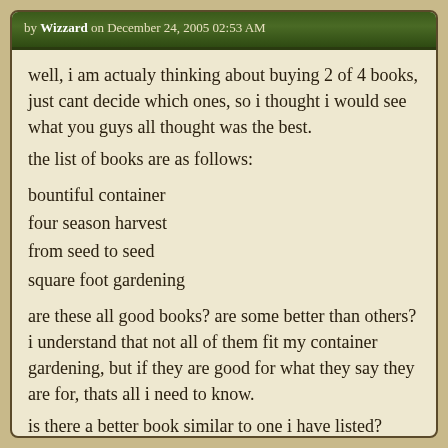by Wizzard on December 24, 2005 02:53 AM
well, i am actualy thinking about buying 2 of 4 books, just cant decide which ones, so i thought i would see what you guys all thought was the best.
the list of books are as follows:
bountiful container
four season harvest
from seed to seed
square foot gardening
are these all good books? are some better than others? i understand that not all of them fit my container gardening, but if they are good for what they say they are for, thats all i need to know.
is there a better book similar to one i have listed?
* * * *